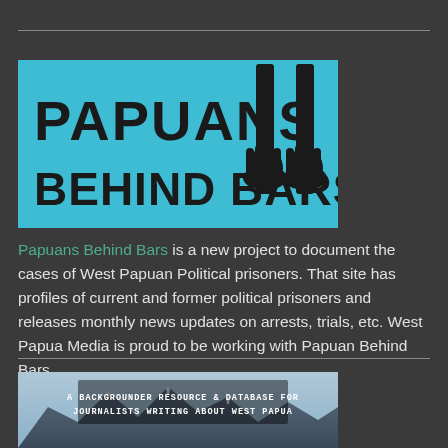[Figure (logo): Papuans Behind Bars logo: teal/cyan background with bold black text 'PAPUANS BEHIND BARS' and silhouette of hands gripping prison bars]
Papuans Behind Bars is a new project to document the cases of West Papuan Political prisoners. That site has profiles of current and former political prisoners and releases monthly news updates on arrests, trials, etc. West Papua Media is proud to be working with Papuan Behind Bars
[Figure (photo): Mountain landscape photo with text overlay: 'A BACKGROUNDER RESOURCE & DATABASE FOR JOURNALISTS WRITING ABOUT WEST PAPUA']